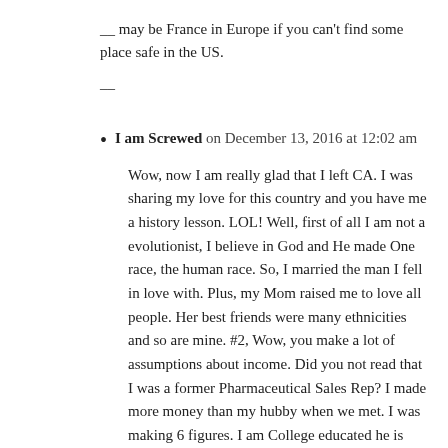__ may be France in Europe if you can't find some place safe in the US.
__
I am Screwed on December 13, 2016 at 12:02 am
Wow, now I am really glad that I left CA. I was sharing my love for this country and you have me a history lesson. LOL! Well, first of all I am not a evolutionist, I believe in God and He made One race, the human race. So, I married the man I fell in love with. Plus, my Mom raised me to love all people. Her best friends were many ethnicities and so are mine. #2, Wow, you make a lot of assumptions about income. Did you not read that I was a former Pharmaceutical Sales Rep? I made more money than my hubby when we met. I was making 6 figures. I am College educated he is